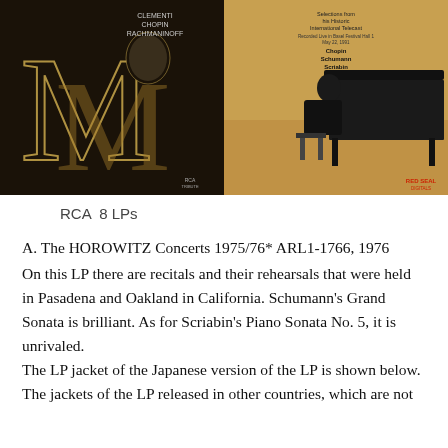[Figure (photo): Two album cover images side by side. Left: dark background with ornate gold letter M and silhouette of pianist, text reads CLEMENTI CHOPIN RACHMANINOFF. Right: Pianist seated at grand piano in brown/gold tones, text reads Selections from his Historic International Telecast, Chopin Schumann Scriabin, RED SEAL.]
RCA  8 LPs
A. The HOROWITZ Concerts 1975/76* ARL1-1766, 1976
 On this LP there are recitals and their rehearsals that were held in Pasadena and Oakland in California. Schumann’s Grand Sonata is brilliant. As for Scriabin’s Piano Sonata No. 5, it is unrivaled.
The LP jacket of the Japanese version of the LP is shown below. The jackets of the LP released in other countries, which are not